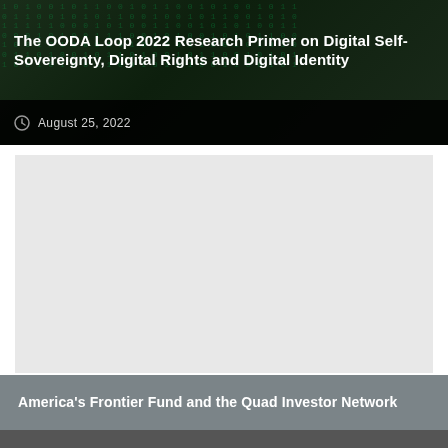The OODA Loop 2022 Research Primer on Digital Self-Sovereignty, Digital Rights and Digital Identity
August 25, 2022
[Figure (photo): Grey placeholder image area representing an article illustration or embedded content]
America's Frontier Fund and the Quad Investor Network